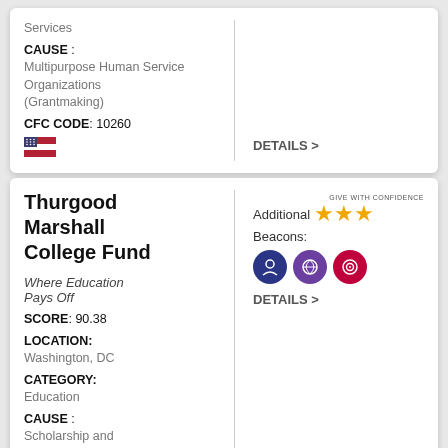Services
CAUSE: Multipurpose Human Service Organizations (Grantmaking)
CFC CODE: 10260
DETAILS >
Thurgood Marshall College Fund
Where Education Pays Off
SCORE: 90.38
LOCATION: Washington, DC
CATEGORY: Education
CAUSE: Scholarship and Financial Support
CFC CODE: 11691
GIVE WITH CONFIDENCE
Additional Beacons:
DETAILS >